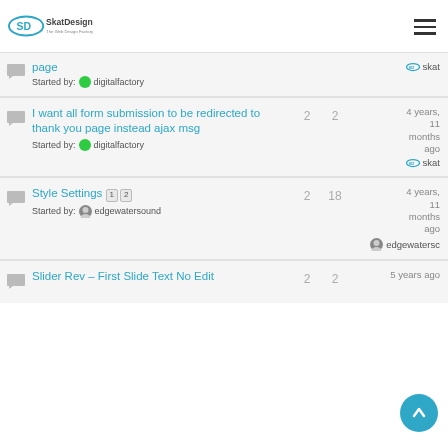SkatDesign - The Web Design Factory
page — Started by: digitalfactory — last reply by skat
I want all form submission to be redirected to thank you page instead ajax msg — Started by: digitalfactory — 2 replies, 2 voices, 4 years, 11 months ago — skat
Style Settings [1][2] — Started by: edgewatersound — 2 replies, 18 voices, 4 years, 11 months ago — edgewaterso
Slider Rev – First Slide Text No Edit — 2 replies, 2 voices, 5 years ago